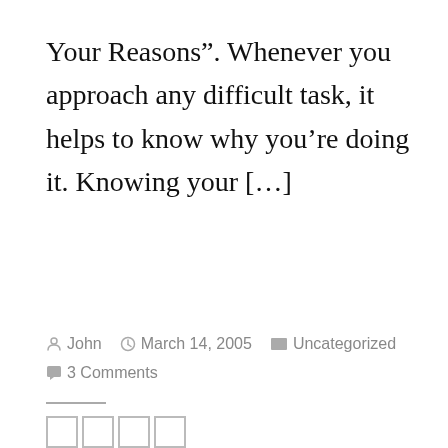Your Reasons". Whenever you approach any difficult task, it helps to know why you're doing it. Knowing your […]
Posted by John  March 14, 2005  Uncategorized  3 Comments